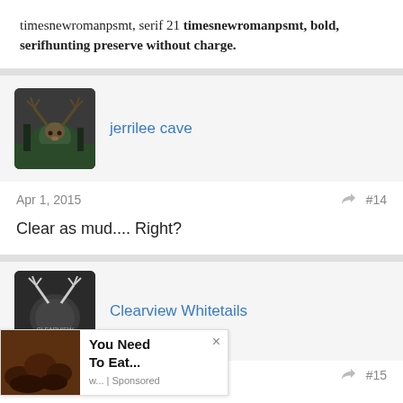timesnewromanpsmt, serif 21 timesnewromanpsmt, bold, serifhunting preserve without charge.
[Figure (photo): Avatar image of a deer with antlers in a forest, used as profile picture for user jerrilee cave]
jerrilee cave
Apr 1, 2015
#14
Clear as mud.... Right?
[Figure (logo): Clearview Whitetails logo with deer antlers icon]
Clearview Whitetails
[Figure (photo): Advertisement overlay showing dates/food image with text: You Need To Eat... w... | Sponsored]
#15